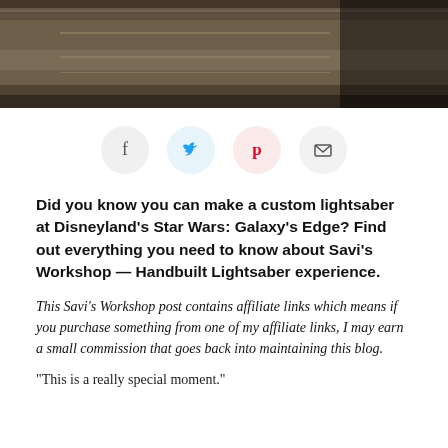[Figure (photo): Dark sepia-toned close-up photo of a metallic surface, appears to be part of a lightsaber or workshop equipment, with a shadowy figure at the right edge]
[Figure (infographic): Row of four circular social sharing buttons: Facebook (f), Twitter (bird), Pinterest (P), Email (envelope)]
Did you know you can make a custom lightsaber at Disneyland's Star Wars: Galaxy's Edge? Find out everything you need to know about Savi's Workshop — Handbuilt Lightsaber experience.
This Savi's Workshop post contains affiliate links which means if you purchase something from one of my affiliate links, I may earn a small commission that goes back into maintaining this blog.
“This is a really special moment.”